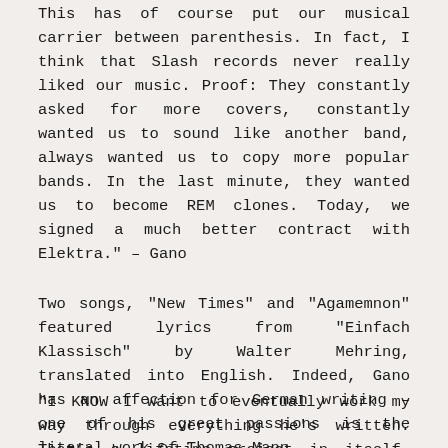This has of course put our musical carrier between parenthesis. In fact, I think that Slash records never really liked our music. Proof: They constantly asked for more covers, constantly wanted us to sound like another band, always wanted us to copy more popular bands. In the last minute, they wanted us to become REM clones. Today, we signed a much better contract with Elektra." – Gano
Two songs, "New Times" and "Agamemnon" featured lyrics from "Einfach Klassisch" by Walter Mehring, translated into English. Indeed, Gano has an affection for German writing – one of his great passions is the literal work of Thomas Mann.
"I KNOW I want to eventually work my way through everything he's written. That's a lifetime project in itself. But you know I'm even more obsessive than that, if you can imagine such a thing. I just finished